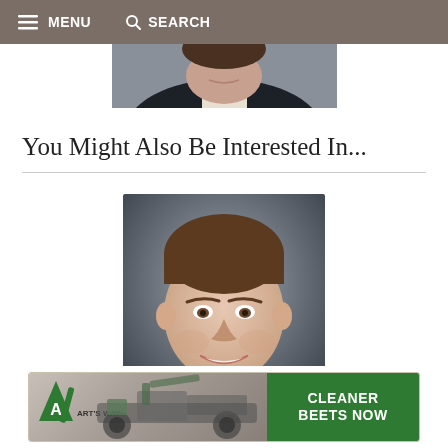≡ MENU   🔍 SEARCH
[Figure (photo): Partial portrait photo of a man in a dark suit, showing the lower face, neck, and shoulders against a gray background. Only the bottom portion of the face is visible.]
You Might Also Be Interested In...
[Figure (photo): Professional headshot portrait of a smiling man with short brown hair, wearing a suit and light blue shirt, against a gray background.]
[Figure (photo): Advertisement banner for Art's Way featuring machinery and text 'CLEANER BEETS NOW']